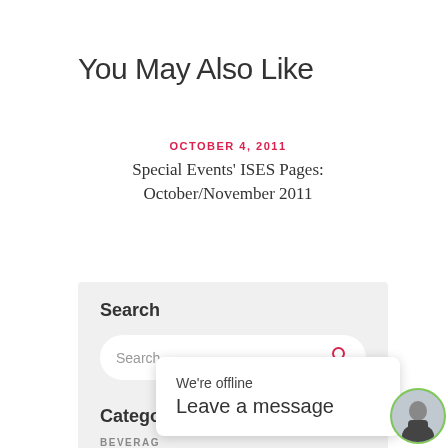You May Also Like
OCTOBER 4, 2011
Special Events' ISES Pages: October/November 2011
Search
Search ...
Categori
BEVERAG
We're offline
Leave a message